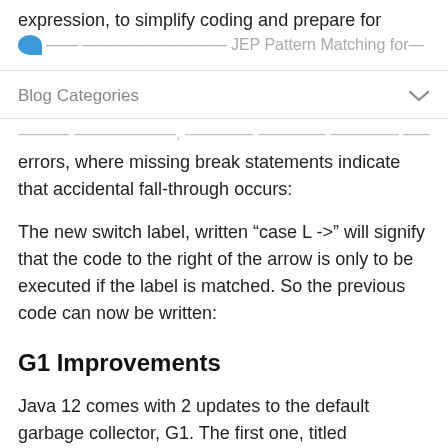expression, to simplify coding and prepare for
...further ... JEP Pattern Matching for...
Blog Categories
...and finally noisy code often makes hard to debug errors, where missing break statements indicate that accidental fall-through occurs:
The new switch label, written “case L ->” will signify that the code to the right of the arrow is only to be executed if the label is matched. So the previous code can now be written:
G1 Improvements
Java 12 comes with 2 updates to the default garbage collector, G1. The first one, titled “Abortable Mixed Collections for G1” helps make